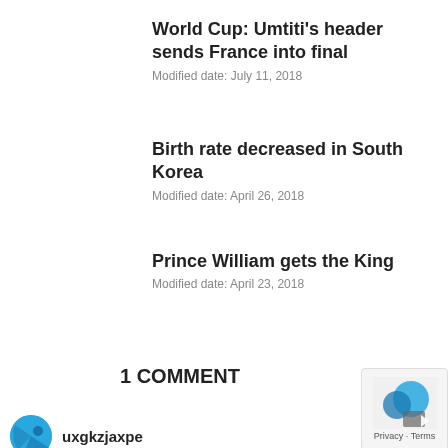World Cup: Umtiti's header sends France into final
Modified date: July 11, 2018
Birth rate decreased in South Korea
Modified date: April 26, 2018
Prince William gets the King
Modified date: April 23, 2018
1 COMMENT
uxgkzjaxpe